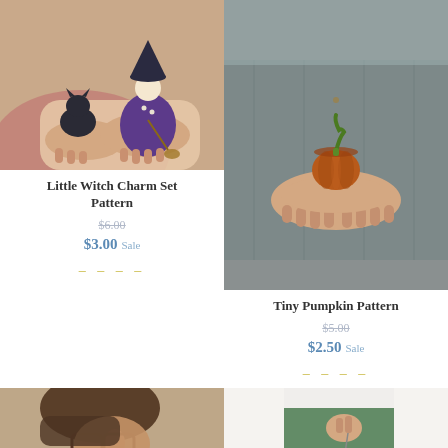[Figure (photo): Hands holding a knitted little witch figure and a small black cat charm]
Little Witch Charm Set Pattern
$6.00
$3.00 Sale
[Figure (photo): Hands holding a small knitted orange pumpkin with green stem]
Tiny Pumpkin Pattern
$5.00
$2.50 Sale
[Figure (photo): Close-up of a person wearing glasses, side profile]
[Figure (photo): Person in green sweater holding a small knitted charm on a string]